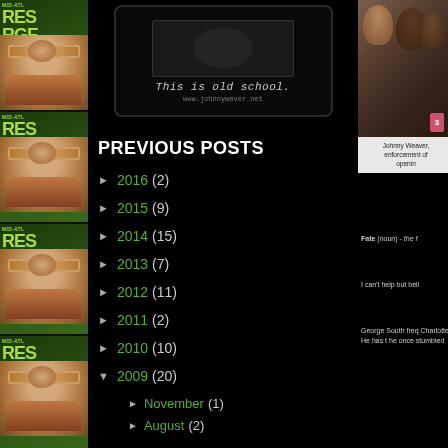[Figure (photo): Dark sidebar with repeated magazine covers featuring a face with sunglasses, green/lime colored headers reading MID-ATL and RGE]
[Figure (photo): Black background image with text 'This is old school.' and URL www.johnnywaver.net]
PREVIOUS POSTS
► 2016 (2)
► 2015 (9)
► 2014 (15)
► 2013 (7)
► 2012 (11)
► 2011 (2)
► 2010 (10)
▼ 2009 (20)
► November (1)
► August (2)
► July (1)
► June (1)
► May (2)
[Figure (photo): Photo of people on a bus, appears to show Johnny Weaver with law enforcement]
Johnny Weaver, enforcement of opening
Fate (noun) - the fo
I can't help but beli
George South freq Charlotte. He has t he once stumbled